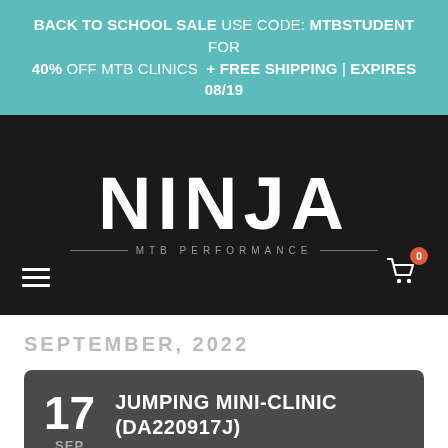BACK TO SCHOOL SALE USE CODE: MTBSTUDENT FOR 40% OFF MTB CLINICS + FREE SHIPPING | EXPIRES 08/19
[Figure (logo): Ninja MTB Performance logo — white bold NINJA text with MTB PERFORMANCE subtitle on black background, with hamburger menu icon left and shopping cart icon right]
SEPTEMBER, 2022
17 SEP — JUMPING MINI-CLINIC (DA220917J) — DALLAS, TEXAS (MCKINNEY)